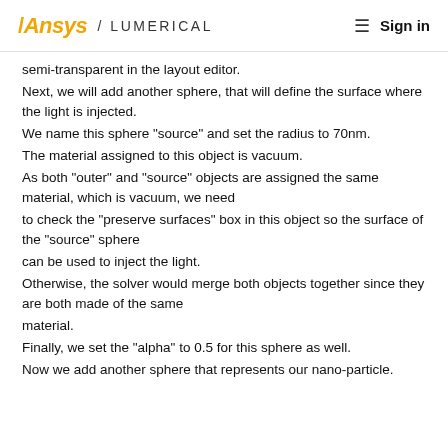Ansys / LUMERICAL   ≡ Sign in
semi-transparent in the layout editor.
Next, we will add another sphere, that will define the surface where the light is injected.
We name this sphere "source" and set the radius to 70nm.
The material assigned to this object is vacuum.
As both "outer" and "source" objects are assigned the same material, which is vacuum, we need to check the "preserve surfaces" box in this object so the surface of the "source" sphere can be used to inject the light.
Otherwise, the solver would merge both objects together since they are both made of the same material.
Finally, we set the "alpha" to 0.5 for this sphere as well.
Now we add another sphere that represents our nano-particle.